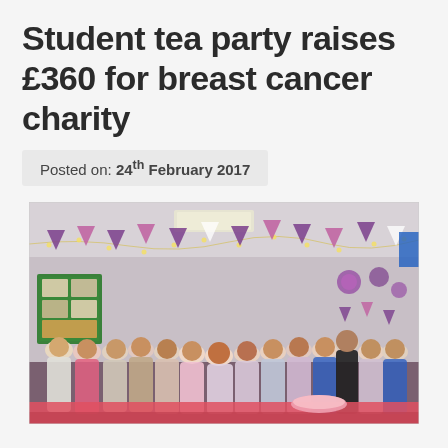Student tea party raises £360 for breast cancer charity
Posted on: 24th February 2017
[Figure (photo): Group photo of approximately 20 students and staff posing in a room decorated with pink and purple bunting and fairy lights, at a breast cancer charity tea party fundraiser event.]